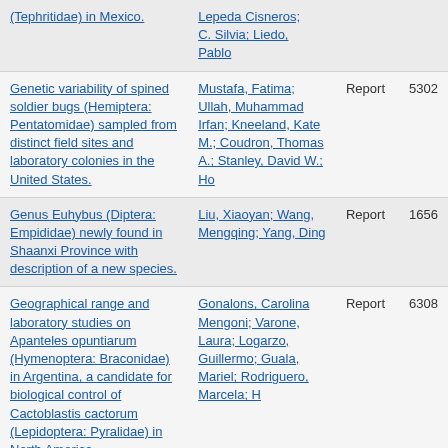| Title | Authors | Type | ID |
| --- | --- | --- | --- |
| (Tephritidae) in Mexico. | Lepeda Cisneros; C. Silvia; Liedo, Pablo | Report |  |
| Genetic variability of spined soldier bugs (Hemiptera: Pentatomidae) sampled from distinct field sites and laboratory colonies in the United States. | Mustafa, Fatima; Ullah, Muhammad Irfan; Kneeland, Kate M.; Coudron, Thomas A.; Stanley, David W.; Ho | Report | 5302 |
| Genus Euhybus (Diptera: Empididae) newly found in Shaanxi Province with description of a new species. | Liu, Xiaoyan; Wang, Mengqing; Yang, Ding | Report | 1656 |
| Geographical range and laboratory studies on Apanteles opuntiarum (Hymenoptera: Braconidae) in Argentina, a candidate for biological control of Cactoblastis cactorum (Lepidoptera: Pyralidae) in North America. | Gonalons, Carolina Mengoni; Varone, Laura; Logarzo, Guillermo; Guala, Mariel; Rodriguero, Marcela; H | Report | 6308 |
| Host suitability of citrus and Zanthoxylum spp. for Leuropota fagarae | Russell, Dyrana N.; Qureshi, Jawwad A.; | Report | 7392 |